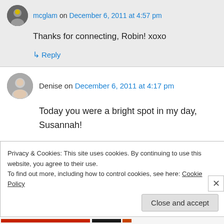mcglam on December 6, 2011 at 4:57 pm
Thanks for connecting, Robin! xoxo
↳ Reply
Denise on December 6, 2011 at 4:17 pm
Today you were a bright spot in my day, Susannah!
Thanks for being you!
Privacy & Cookies: This site uses cookies. By continuing to use this website, you agree to their use.
To find out more, including how to control cookies, see here: Cookie Policy
Close and accept